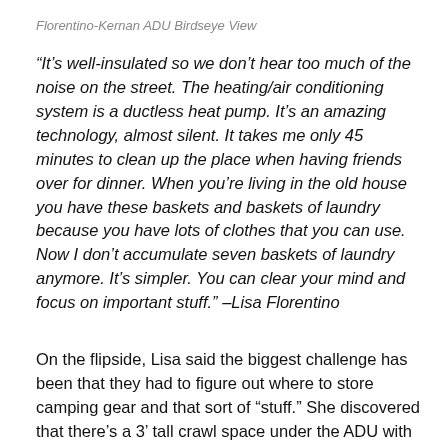Florentino-Kernan ADU Birdseye View
“It’s well-insulated so we don’t hear too much of the noise on the street. The heating/air conditioning system is a ductless heat pump. It’s an amazing technology, almost silent. It takes me only 45 minutes to clean up the place when having friends over for dinner. When you’re living in the old house you have these baskets and baskets of laundry because you have lots of clothes that you can use. Now I don’t accumulate seven baskets of laundry anymore. It’s simpler. You can clear your mind and focus on important stuff.” –Lisa Florentino
On the flipside, Lisa said the biggest challenge has been that they had to figure out where to store camping gear and that sort of “stuff.” She discovered that there’s a 3’ tall crawl space under the ADU with a little hatch so they now